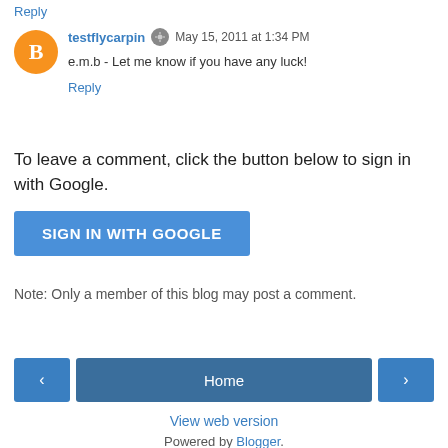Reply
testflycarpin  May 15, 2011 at 1:34 PM
e.m.b - Let me know if you have any luck!
Reply
To leave a comment, click the button below to sign in with Google.
SIGN IN WITH GOOGLE
Note: Only a member of this blog may post a comment.
Home
View web version
Powered by Blogger.